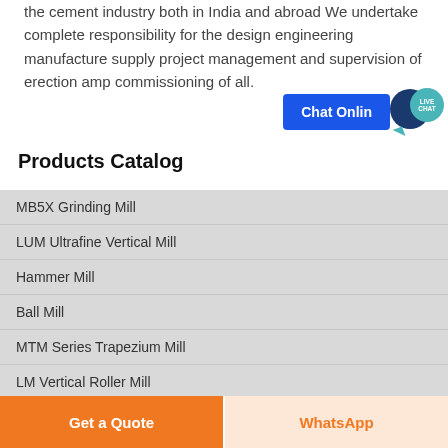the cement industry both in India and abroad We undertake complete responsibility for the design engineering manufacture supply project management and supervision of erection amp commissioning of all.
Products Catalog
MB5X Grinding Mill
LUM Ultrafine Vertical Mill
Hammer Mill
Ball Mill
MTM Series Trapezium Mill
LM Vertical Roller Mill
MTW Series Trapezium Mill
Get a Quote
WhatsApp